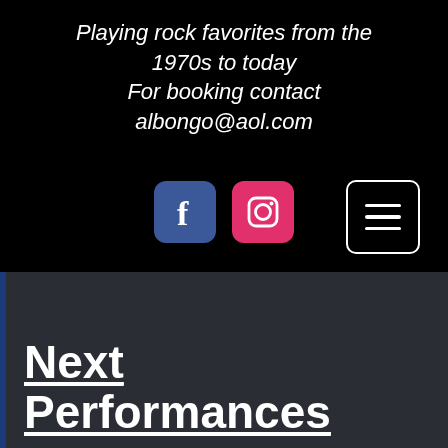Playing rock favorites from the 1970s to today For booking contact albongo@aol.com
[Figure (other): Facebook and Instagram social media icon buttons]
[Figure (other): Hamburger menu button with three horizontal lines inside a rounded rectangle border]
Next Performances